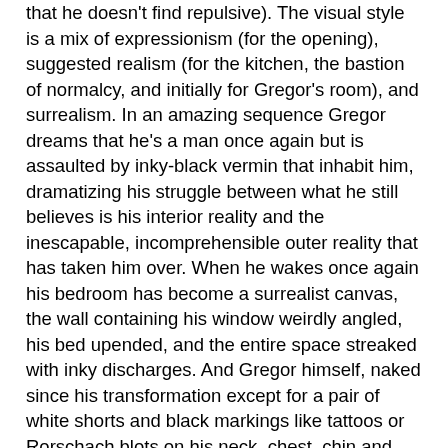that he doesn't find repulsive). The visual style is a mix of expressionism (for the opening), suggested realism (for the kitchen, the bastion of normalcy, and initially for Gregor's room), and surrealism. In an amazing sequence Gregor dreams that he's a man once again but is assaulted by inky-black vermin that inhabit him, dramatizing his struggle between what he still believes is his interior reality and the inescapable, incomprehensible outer reality that has taken him over. When he wakes once again his bedroom has become a surrealist canvas, the wall containing his window weirdly angled, his bed upended, and the entire space streaked with inky discharges. And Gregor himself, naked since his transformation except for a pair of white shorts and black markings like tattoos or Rorschach blots on his neck, chest, chin and mouth, is now covered with the oily black fluid.
When Gregor awakens as an insect, Watson is on his back, all his limbs extended and wriggling. He tries to get out of bed, lands on his side, and manipulates himself onto his belly, with his upper body and legs in the air. Whichever position he adopts, his arms and legs are twisted, entwined, his hands flutter and his fingers curl and. Al...